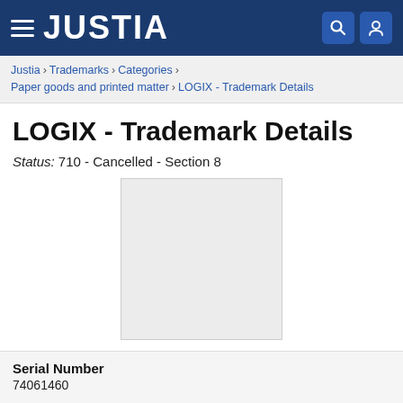JUSTIA
Justia › Trademarks › Categories › Paper goods and printed matter › LOGIX - Trademark Details
LOGIX - Trademark Details
Status: 710 - Cancelled - Section 8
[Figure (other): Blank/placeholder trademark image box with light gray background]
Serial Number
74061460
Registration Number